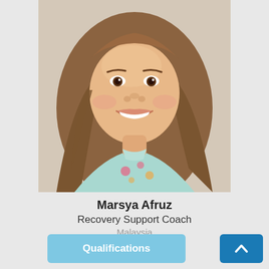[Figure (photo): Headshot photo of a young woman with long brown hair, smiling broadly, wearing a floral top. Photo is centered at the top of the page.]
Marsya Afruz
Recovery Support Coach
Malaysia
Qualifications
[Figure (other): Blue upward arrow button in the bottom right corner]